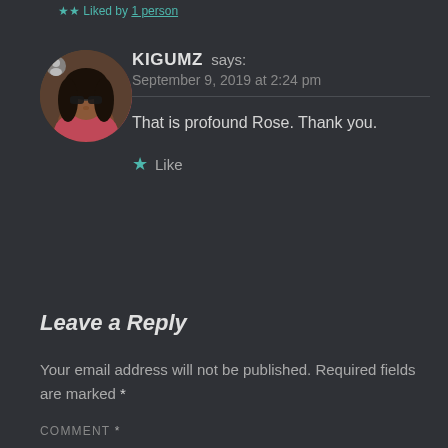Liked by 1 person
[Figure (photo): Circular avatar photo of KIGUMZ, a woman with sunglasses and dark hair]
KIGUMZ says:
September 9, 2019 at 2:24 pm
That is profound Rose. Thank you.
★ Like
Leave a Reply
Your email address will not be published. Required fields are marked *
COMMENT *